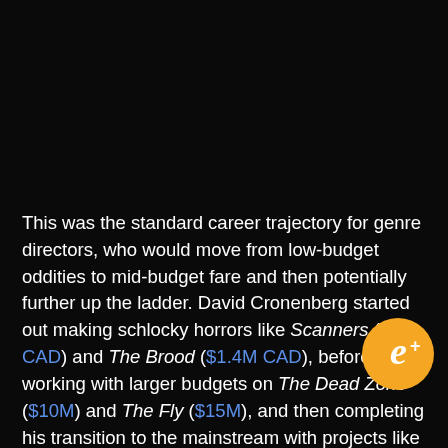This was the standard career trajectory for genre directors, who would move from low-budget oddities to mid-budget fare and then potentially further up the ladder. David Cronenberg started out making schlocky horrors like Scanners ($4M CAD) and The Brood ($1.4M CAD), before working with larger budgets on The Dead Zone ($10M) and The Fly ($15M), and then completing his transition to the mainstream with projects like A History of Violence ($32M) and Eastern Promises ($50M).
[Figure (logo): Orange circular logo with letter e and plus sign, overlapping text block in bottom right area]